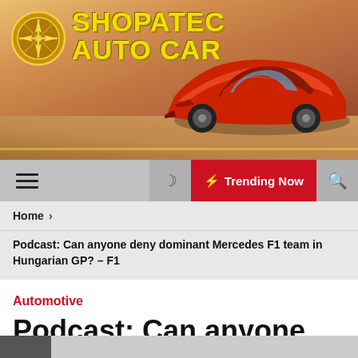[Figure (illustration): ShopAtec Auto Car website banner header with logo (compass rose in gold circle), yellow bold text 'SHOPATEC AUTO CAR', and a red/orange sports car on a racetrack with desert background]
☰  ☽  ⚡ Trending Now  🔍
Home ›
Podcast: Can anyone deny dominant Mercedes F1 team in Hungarian GP? – F1
Automotive
Podcast: Can anyone deny